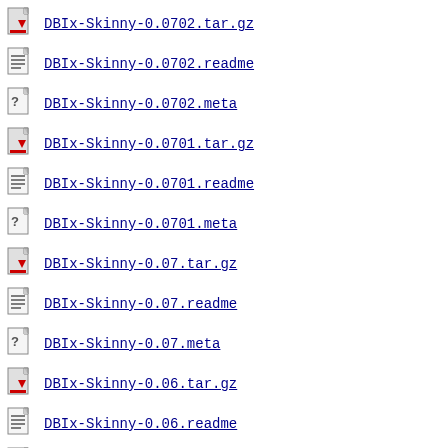DBIx-Skinny-0.0702.tar.gz
DBIx-Skinny-0.0702.readme
DBIx-Skinny-0.0702.meta
DBIx-Skinny-0.0701.tar.gz
DBIx-Skinny-0.0701.readme
DBIx-Skinny-0.0701.meta
DBIx-Skinny-0.07.tar.gz
DBIx-Skinny-0.07.readme
DBIx-Skinny-0.07.meta
DBIx-Skinny-0.06.tar.gz
DBIx-Skinny-0.06.readme
DBIx-Skinny-0.06.meta
DBIx-Skinny-0.05.tar.gz
DBIx-Skinny-0.05.readme
DBIx-Skinny-0.05.meta
DBIx-Skinny-0.04.tar.gz
DBIx-Skinny-0.04.readme
DBIx-Skinny-0.04.meta (partial)